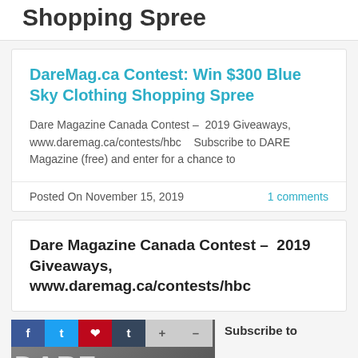Shopping Spree
DareMag.ca Contest: Win $300 Blue Sky Clothing Shopping Spree
Dare Magazine Canada Contest –  2019 Giveaways, www.daremag.ca/contests/hbc   Subscribe to DARE Magazine (free) and enter for a chance to
Posted On November 15, 2019
1 comments
Dare Magazine Canada Contest –  2019 Giveaways, www.daremag.ca/contests/hbc
[Figure (photo): Image of Dare Magazine featuring social sharing buttons (Facebook, Twitter, Pinterest, Tumblr, plus, minus) overlay on a magazine cover photo with women and DARE lettering]